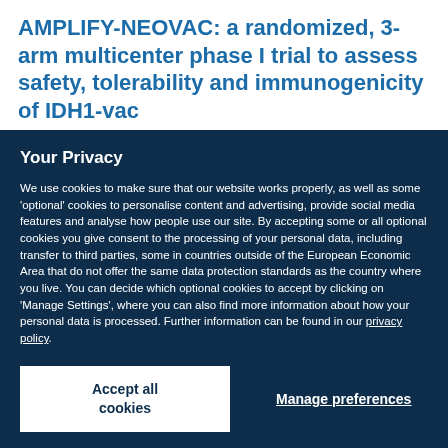AMPLIFY-NEOVAC: a randomized, 3-arm multicenter phase I trial to assess safety, tolerability and immunogenicity of IDH1-vac
Your Privacy
We use cookies to make sure that our website works properly, as well as some 'optional' cookies to personalise content and advertising, provide social media features and analyse how people use our site. By accepting some or all optional cookies you give consent to the processing of your personal data, including transfer to third parties, some in countries outside of the European Economic Area that do not offer the same data protection standards as the country where you live. You can decide which optional cookies to accept by clicking on 'Manage Settings', where you can also find more information about how your personal data is processed. Further information can be found in our privacy policy.
Accept all cookies
Manage preferences